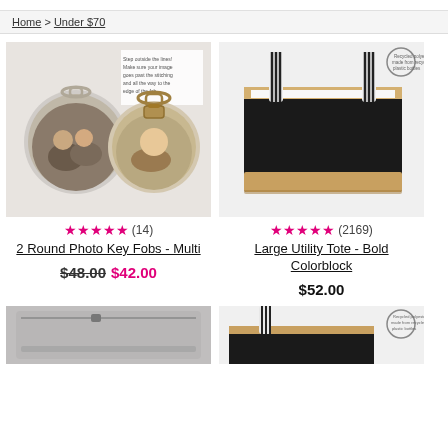Home > Under $70
[Figure (photo): Two round photo keychains/key fobs showing family photos, with metal key rings attached. White background with instructional text overlay.]
★★★★★ (14)
2 Round Photo Key Fobs - Multi
$48.00 $42.00
[Figure (photo): Large utility tote bag in black and tan colorblock with striped handles, shown from the side. Recycled polyester badge in top right corner.]
★★★★★ (2169)
Large Utility Tote - Bold Colorblock
$52.00
[Figure (photo): Gray zipper pouch/cosmetic bag, partially visible at bottom of page.]
[Figure (photo): Black patterned utility tote bag, partially visible at bottom of page. Recycled polyester badge visible.]